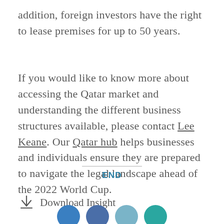addition, foreign investors have the right to lease premises for up to 50 years.
If you would like to know more about accessing the Qatar market and understanding the different business structures available, please contact Lee Keane. Our Qatar hub helps businesses and individuals ensure they are prepared to navigate the legal landscape ahead of the 2022 World Cup.
END
Download Insight